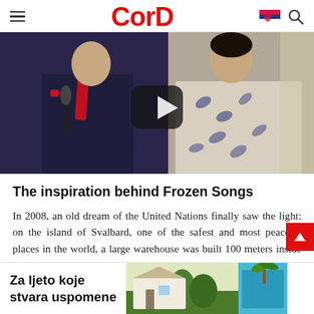CorD
[Figure (photo): Video thumbnail showing two people at an event: a man in a dark suit with a red tie holding a microphone, and a woman in a blue-patterned blouse. A play button overlay is visible in the center.]
The inspiration behind Frozen Songs
In 2008, an old dream of the United Nations finally saw the light: on the island of Svalbard, one of the safest and most peaceful places in the world, a large warehouse was built 100 meters inside a mountain. In
[Figure (photo): Advertisement banner: 'Za ljeto koje stvara uspomene' with an image of a house and a swimming pool area.]